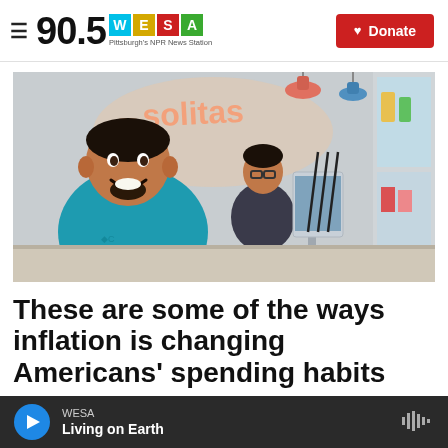90.5 WESA — Pittsburgh's NPR News Station | Donate
[Figure (photo): A man in a teal shirt smiling at the camera inside a restaurant, with a woman working in the background near a point-of-sale terminal.]
These are some of the ways inflation is changing Americans' spending habits
WESA — Living on Earth